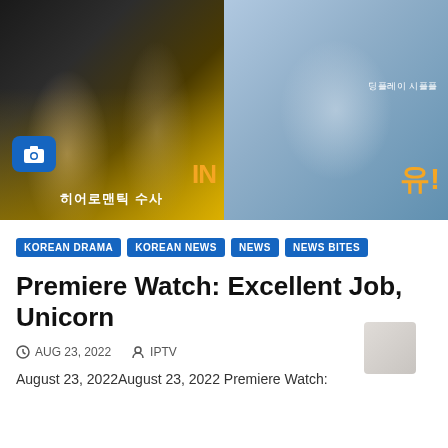[Figure (photo): Two Korean drama promotional posters side by side. Left: dark/yellow toned poster with two actors (man in suit, woman in black dress) with Korean text and camera icon overlay. Right: blue-toned poster with group of office workers/reporters with Korean text in orange.]
KOREAN DRAMA
KOREAN NEWS
NEWS
NEWS BITES
Premiere Watch: Excellent Job, Unicorn
AUG 23, 2022   IPTV
August 23, 2022August 23, 2022 Premiere Watch: